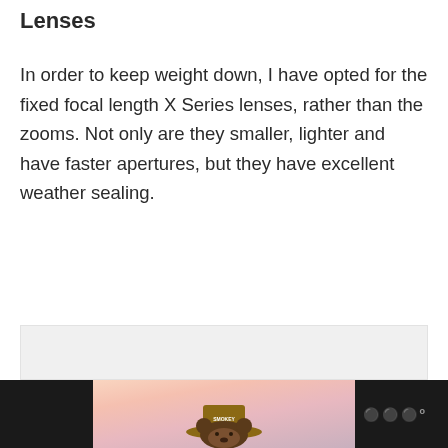Lenses
In order to keep weight down, I have opted for the fixed focal length X Series lenses, rather than the zooms. Not only are they smaller, lighter and have faster apertures, but they have excellent weather sealing.
[Figure (photo): Light-colored pastel sky background with a bear figure (Smokey Bear) visible at the bottom of the image area, in a dark bottom banner]
[Figure (other): UI floating action buttons: a teal heart/favorite button and a white share button with network icon]